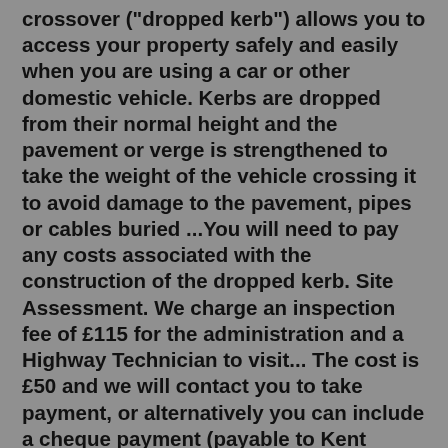crossover ("dropped kerb") allows you to access your property safely and easily when you are using a car or other domestic vehicle. Kerbs are dropped from their normal height and the pavement or verge is strengthened to take the weight of the vehicle crossing it to avoid damage to the pavement, pipes or cables buried ...You will need to pay any costs associated with the construction of the dropped kerb. Site Assessment. We charge an inspection fee of £115 for the administration and a Highway Technician to visit... The cost is £50 and we will contact you to take payment, or alternatively you can include a cheque payment (payable to Kent County Council) if requesting information via our postal address. Read Section 184 of the Highways Act 1980 on dropped kerbs for more information.Dropped Kerb Costs. The costs of dropping a kerb vary from council to council and from town to town. Of course, architects or planning consultants are also able to set their own pricing unregulated by the local authority, just like builders and contractors are too, so there are a